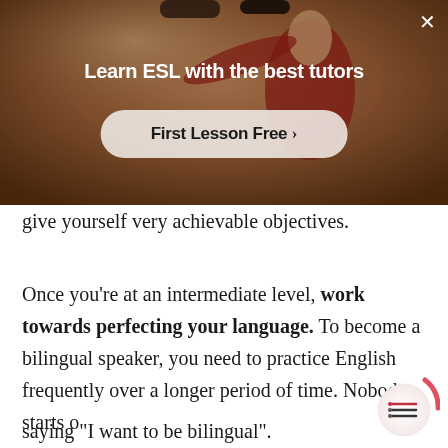[Figure (screenshot): ESL tutoring advertisement overlay showing a person in a gym/dojo setting. Contains title 'Learn ESL with the best tutors' and a call-to-action button 'First Lesson Free >' with an X close button.]
give yourself very achievable objectives.
Once you’re at an intermediate level, work towards perfecting your language. To become a bilingual speaker, you need to practice English frequently over a longer period of time. Nobody starts out saying “I want to be bilingual”.